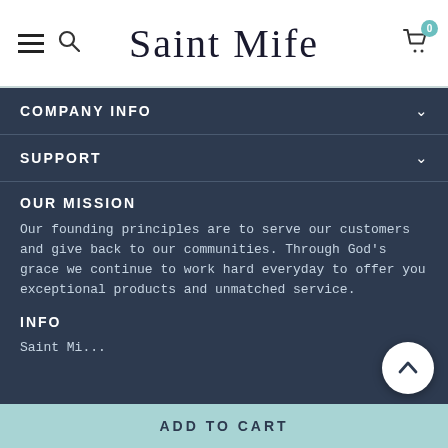Saint Mife — navigation header with hamburger menu, search icon, logo, and cart (0 items)
COMPANY INFO
SUPPORT
OUR MISSION
Our founding principles are to serve our customers and give back to our communities. Through God's grace we continue to work hard everyday to offer you exceptional products and unmatched service.
INFO
Saint Mi...
ADD TO CART